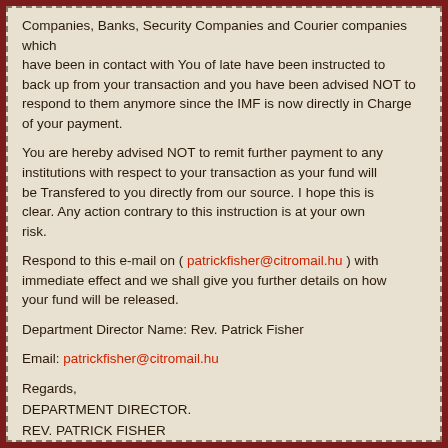Companies, Banks, Security Companies and Courier companies which have been in contact with You of late have been instructed to back up from your transaction and you have been advised NOT to respond to them anymore since the IMF is now directly in Charge of your payment.
You are hereby advised NOT to remit further payment to any institutions with respect to your transaction as your fund will be Transfered to you directly from our source. I hope this is clear. Any action contrary to this instruction is at your own risk.
Respond to this e-mail on ( patrickfisher@citromail.hu ) with immediate effect and we shall give you further details on how your fund will be released.
Department Director Name: Rev. Patrick Fisher
Email: patrickfisher@citromail.hu
Regards,
DEPARTMENT DIRECTOR.
REV. PATRICK FISHER